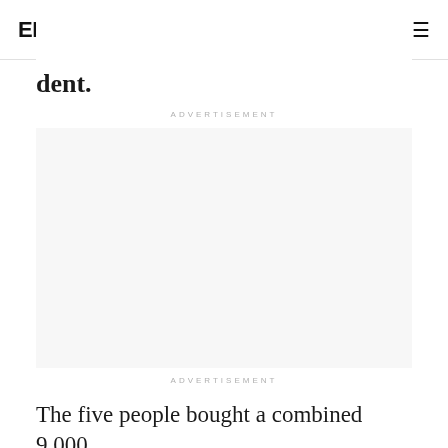ENDPOINTS NEWS
dent.
ADVERTISEMENT
ADVERTISEMENT
The five people bought a combined 9,000